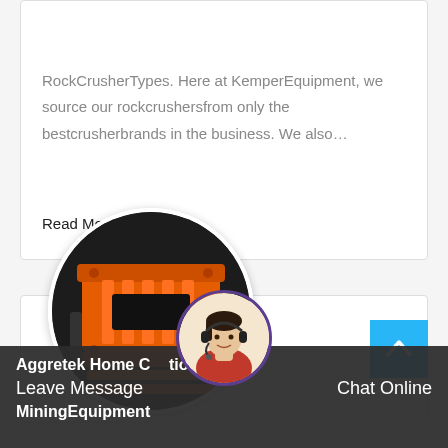KemperEquipment
RockCrusherTypes. Here at KemperEquipment, we source our rockcrushersfrom only the bestcrusherbrands in the business. We also…
Read More →
[Figure (photo): Circular photo of orange industrial rock crusher / jaw crusher equipment on dark background]
Aggretek Home Construction And MiningEquipment
Leave Message
Chat Online
[Figure (photo): Customer service representative avatar with headset, circular purple-bordered chat widget]